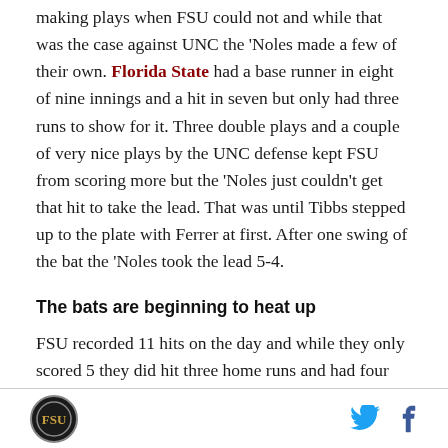making plays when FSU could not and while that was the case against UNC the ‘Noles made a few of their own. Florida State had a base runner in eight of nine innings and a hit in seven but only had three runs to show for it. Three double plays and a couple of very nice plays by the UNC defense kept FSU from scoring more but the ‘Noles just couldn’t get that hit to take the lead. That was until Tibbs stepped up to the plate with Ferrer at first. After one swing of the bat the ‘Noles took the lead 5-4.
The bats are beginning to heat up
FSU recorded 11 hits on the day and while they only scored 5 they did hit three home runs and had four